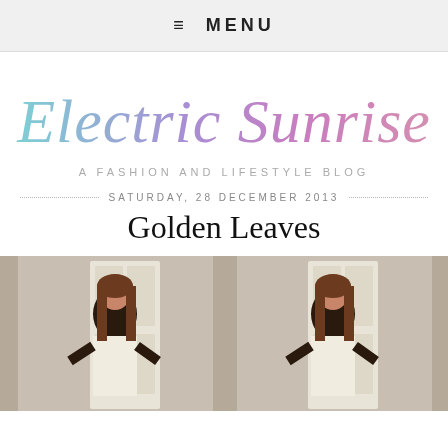≡ MENU
[Figure (logo): Electric Sunrise cursive script logo in blue-purple gradient]
A FASHION AND LIFESTYLE BLOG
SATURDAY, 28 DECEMBER 2013
Golden Leaves
[Figure (photo): Two side-by-side photos of a woman with long brown hair wearing a dark top and white skirt, standing in front of a white door]